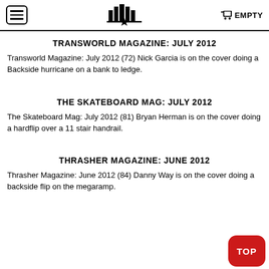☰ [logo] 🛒 EMPTY
TRANSWORLD MAGAZINE: JULY 2012
Transworld Magazine: July 2012 (72) Nick Garcia is on the cover doing a Backside hurricane on a bank to ledge.
THE SKATEBOARD MAG: JULY 2012
The Skateboard Mag: July 2012 (81) Bryan Herman is on the cover doing a hardflip over a 11 stair handrail.
THRASHER MAGAZINE: JUNE 2012
Thrasher Magazine: June 2012 (84) Danny Way is on the cover doing a backside flip on the megaramp.